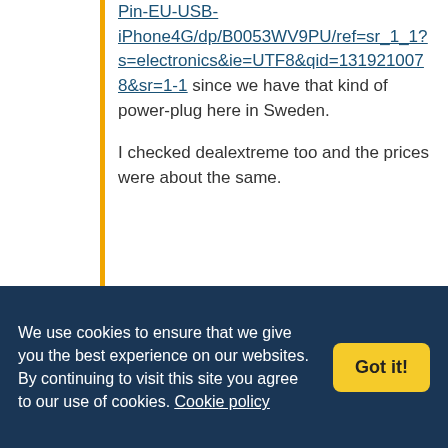Pin-EU-USB-iPhone4G/dp/B0053WV9PU/ref=sr_1_1?s=electronics&ie=UTF8&qid=1319210078&sr=1-1 since we have that kind of power-plug here in Sweden.

I checked dealextreme too and the prices were about the same.
ausserirdischesindgesund
21st October 2011, 2:42 pm
We use cookies to ensure that we give you the best experience on our websites. By continuing to visit this site you agree to our use of cookies. Cookie policy